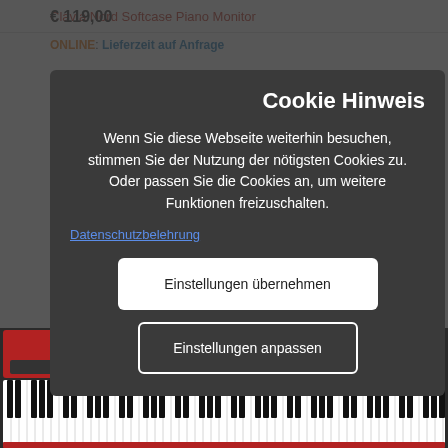Clavia Nord Softcase Piano Monitor
€ 119,00
ONLINE: Lieferzeit auf Anfrage
Cookie Hinweis
Wenn Sie diese Webseite weiterhin besuchen, stimmen Sie der Nutzung der nötigsten Cookies zu. Oder passen Sie die Cookies an, um weitere Funktionen freizuschalten.
Datenschutzbelehrung
Einstellungen übernehmen
Einstellungen anpassen
[Figure (photo): Nord Piano 5 keyboard instrument, red and black, with white and black keys visible]